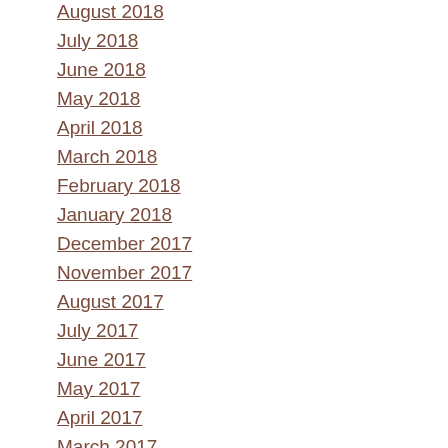August 2018
July 2018
June 2018
May 2018
April 2018
March 2018
February 2018
January 2018
December 2017
November 2017
August 2017
July 2017
June 2017
May 2017
April 2017
March 2017
February 2017
January 2017
December 2016